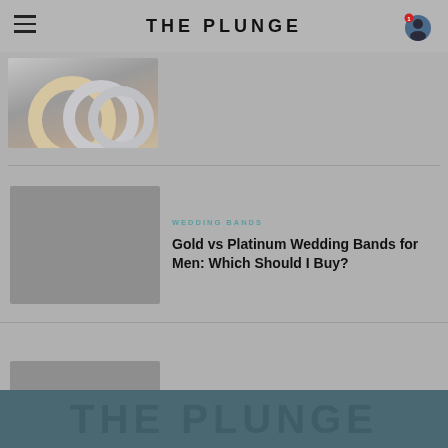THE PLUNGE
[Figure (photo): Partial view of wedding rings/bands on a surface, top of page]
WEDDING BANDS
Gold vs Platinum Wedding Bands for Men: Which Should I Buy?
[Figure (photo): Gray placeholder image for second article]
WEDDING BANDS
Black Is the New Gold: A Guide to Men's Black Wedding Rings
THE PLUNGE watermark